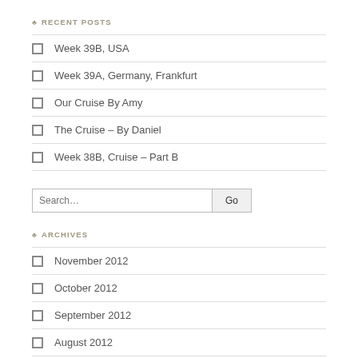RECENT POSTS
Week 39B, USA
Week 39A, Germany, Frankfurt
Our Cruise By Amy
The Cruise – By Daniel
Week 38B, Cruise – Part B
Search...
ARCHIVES
November 2012
October 2012
September 2012
August 2012
July 2012
June 2012